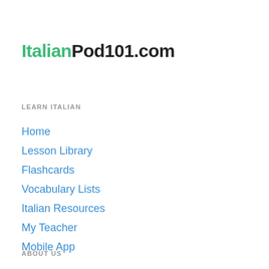ItalianPod101.com
LEARN ITALIAN
Home
Lesson Library
Flashcards
Vocabulary Lists
Italian Resources
My Teacher
Mobile App
ABOUT US